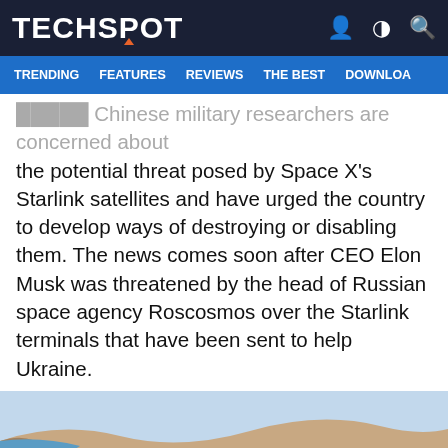TECHSPOT
TRENDING  FEATURES  REVIEWS  THE BEST  DOWNLOA
Chinese military researchers are concerned about the potential threat posed by Space X's Starlink satellites and have urged the country to develop ways of destroying or disabling them. The news comes soon after CEO Elon Musk was threatened by the head of Russian space agency Roscosmos over the Starlink terminals that have been sent to help Ukraine.
[Figure (photo): A spacecraft or satellite with solar panels visible, photographed from space with Earth's coastline and terrain visible in the background. The scene shows blue sky/atmosphere, sandy/arid land, and white coastal features.]